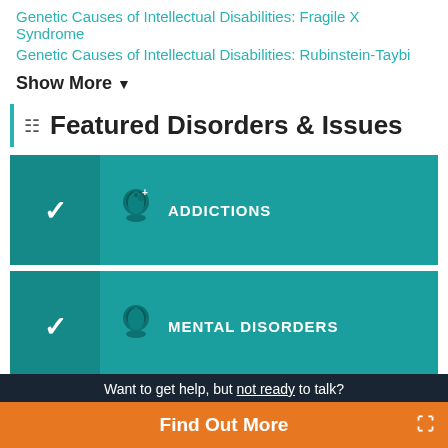Genetic Causes of Intellectual Disabilities: Fragile X Syndrome
Genetic Causes of Intellectual Disabilities: Rubinstein-Taybi
Show More ▼
Featured Disorders & Issues
[Figure (screenshot): Teal card for ADDICTIONS with a head/brain icon and a chevron expand button on the left]
[Figure (screenshot): Teal card for MENTAL DISORDERS with a head/brain icon and a chevron expand button on the left]
Want to get help, but not ready to talk?
Find Out More